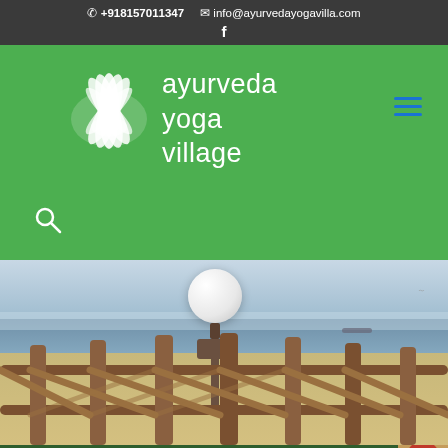+918157011347  info@ayurvedayogavilla.com  f
[Figure (screenshot): Ayurveda Yoga Village website screenshot showing green header with logo, lotus icon, hamburger menu, search icon, beach/ocean photo with wooden fence and globe lamp post, WhatsApp Us button, and Book Online Reserve Now tab]
ayurveda yoga village
WhatsApp Us
Book Online Reserve Now